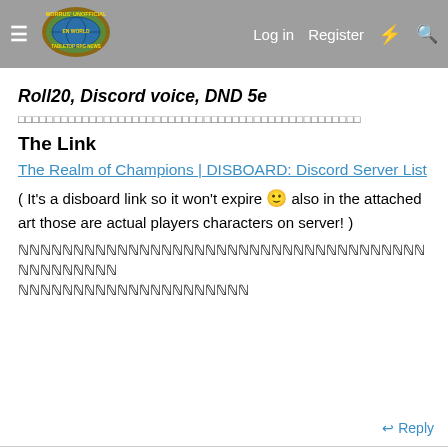Morrus' Unofficial Tabletop RPG News — Log in  Register
Roll20, Discord voice, DND 5e
――――――――――――――――――――――――――――――――――――――――――――――――
The Link
The Realm of Champions | DISBOARD: Discord Server List
( It's a disboard link so it won't expire 🙂 also in the attached art those are actual players characters on server! )
ℕℕℕℕℕℕℕℕℕℕℕℕℕℕℕℕℕℕℕℕℕℕℕℕℕℕℕℕℕℕℕℕℕℕℕℕℕℕℕℕℕℕℕℕℕℕ ℕℕℕℕℕℕℕℕℕℕℕℕℕℕℕℕℕℕℕℕ
↩ Reply